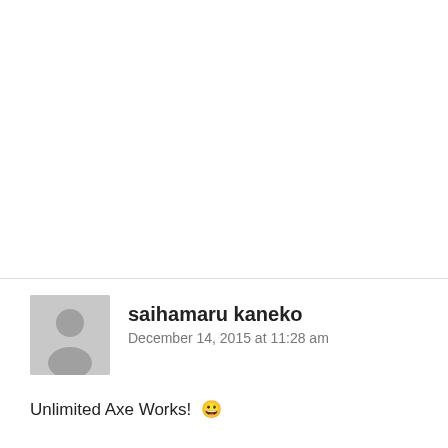saihamaru kaneko
December 14, 2015 at 11:28 am
Unlimited Axe Works! 😀
Loading...